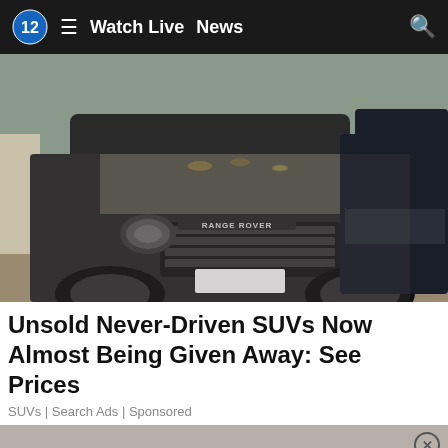12  ☰  Watch Live  News  🔍
[Figure (photo): A dusty black Range Rover Evoque SUV parked next to another dark SUV, both covered in dust and debris]
Unsold Never-Driven SUVs Now Almost Being Given Away: See Prices
SUVs | Search Ads | Sponsored